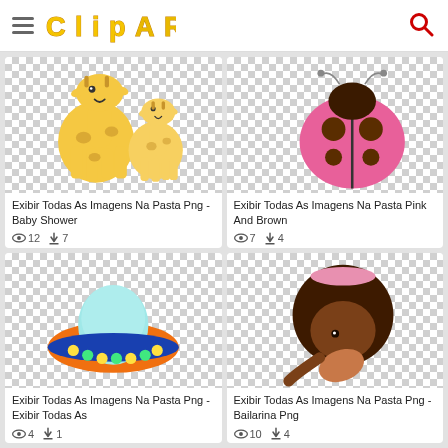ClipartMax
[Figure (illustration): Cartoon giraffes (baby shower clipart) on checkered transparent background]
Exibir Todas As Imagens Na Pasta Png - Baby Shower
👁 12  ⬇ 7
[Figure (illustration): Pink ladybug on checkered transparent background]
Exibir Todas As Imagens Na Pasta Pink And Brown
👁 7  ⬇ 4
[Figure (illustration): Cartoon UFO/spaceship in orange, teal and green on checkered transparent background]
Exibir Todas As Imagens Na Pasta Png - Exibir Todas As
👁 4  ⬇ 1
[Figure (illustration): Cartoon dark-skinned girl ballerina bending forward on checkered transparent background]
Exibir Todas As Imagens Na Pasta Png - Bailarina Png
👁 10  ⬇ 4